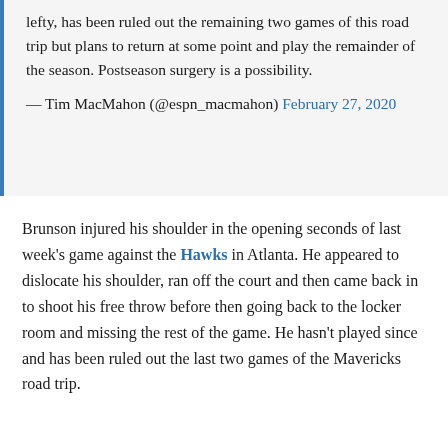lefty, has been ruled out the remaining two games of this road trip but plans to return at some point and play the remainder of the season. Postseason surgery is a possibility.
— Tim MacMahon (@espn_macmahon) February 27, 2020
Brunson injured his shoulder in the opening seconds of last week's game against the Hawks in Atlanta. He appeared to dislocate his shoulder, ran off the court and then came back in to shoot his free throw before then going back to the locker room and missing the rest of the game. He hasn't played since and has been ruled out the last two games of the Mavericks road trip.